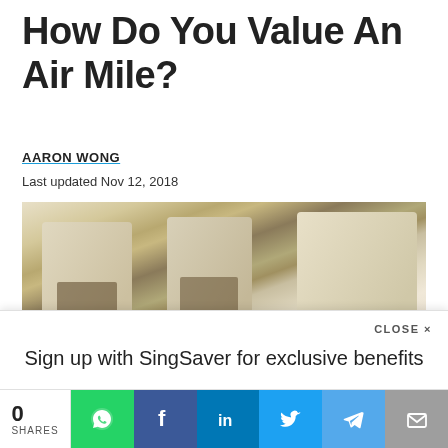How Do You Value An Air Mile?
AARON WONG
Last updated Nov 12, 2018
[Figure (photo): Photo of airplane business class seats with tray tables, viewed from the aisle]
CLOSE X
Sign up with SingSaver for exclusive benefits
Learn More
Sign In / Sign Up
0 SHARES
[Figure (infographic): Social sharing bar with WhatsApp, Facebook, LinkedIn, Twitter, Telegram, and Email icons]